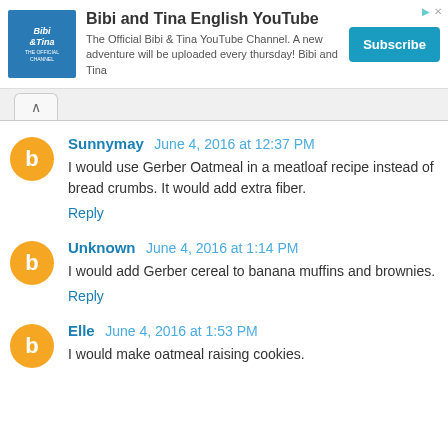[Figure (other): Advertisement banner for Bibi and Tina English YouTube channel with logo, description text, and Subscribe button]
Sunnymay June 4, 2016 at 12:37 PM
I would use Gerber Oatmeal in a meatloaf recipe instead of bread crumbs. It would add extra fiber.
Reply
Unknown June 4, 2016 at 1:14 PM
I would add Gerber cereal to banana muffins and brownies.
Reply
Elle June 4, 2016 at 1:53 PM
I would make oatmeal raising cookies.